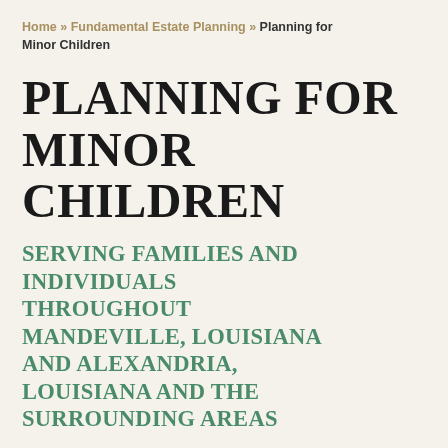Home » Fundamental Estate Planning » Planning for Minor Children
PLANNING FOR MINOR CHILDREN
SERVING FAMILIES AND INDIVIDUALS THROUGHOUT MANDEVILLE, LOUISIANA AND ALEXANDRIA, LOUISIANA AND THE SURROUNDING AREAS